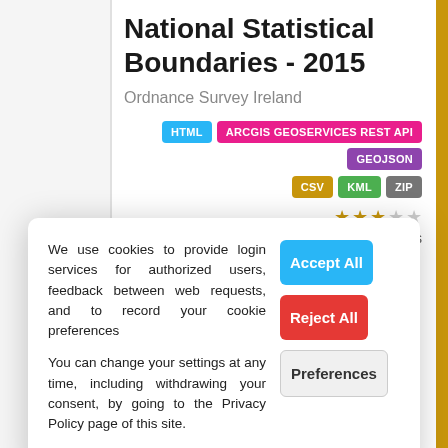National Statistical Boundaries - 2015
Ordnance Survey Ireland
[Figure (infographic): Format badges: HTML (blue), ARCGIS GEOSERVICES REST API (pink), GEOJSON (purple), CSV (yellow), KML (green), ZIP (gray)]
0 views
We use cookies to provide login services for authorized users, feedback between web requests, and to record your cookie preferences
You can change your settings at any time, including withdrawing your consent, by going to the Privacy Policy page of this site.
National Statutory